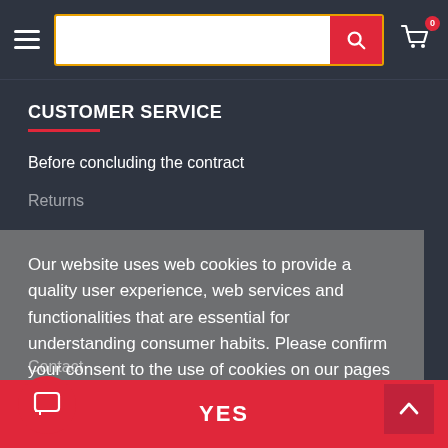[Figure (screenshot): Navigation bar with hamburger menu, search box with orange border and red search button, and shopping cart icon with badge showing 0]
CUSTOMER SERVICE
Before concluding the contract
Returns
Our website uses web cookies to provide a quality user experience, web services and functionalities that are essential for understanding consumer habits. Please confirm your consent to the use of cookies on our pages by clicking "YES".
Privacy Policy
Contact
YES